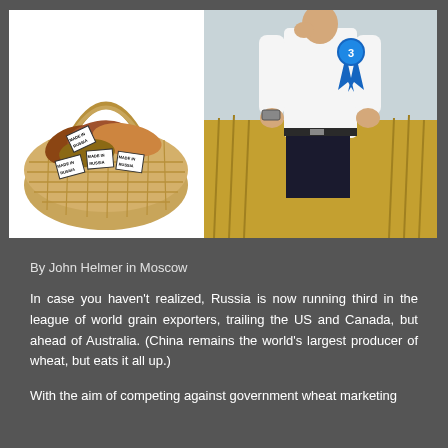[Figure (photo): Left: A wicker basket filled with bread loaves labeled 'Made in Russia'. Right: A man in a white shirt with a blue ribbon award (number 3) standing in a wheat field.]
By John Helmer in Moscow
In case you haven't realized, Russia is now running third in the league of world grain exporters, trailing the US and Canada, but ahead of Australia. (China remains the world's largest producer of wheat, but eats it all up.)
With the aim of competing against government wheat marketing